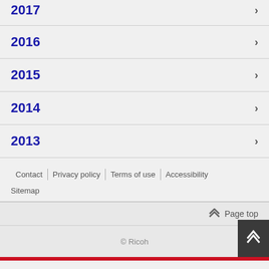2017
2016
2015
2014
2013
Contact | Privacy policy | Terms of use | Accessibility
Sitemap
Page top
© Ricoh